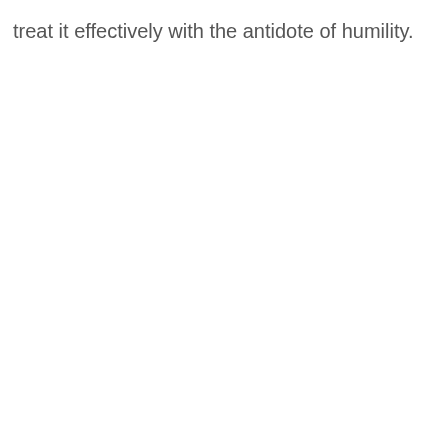treat it effectively with the antidote of humility.